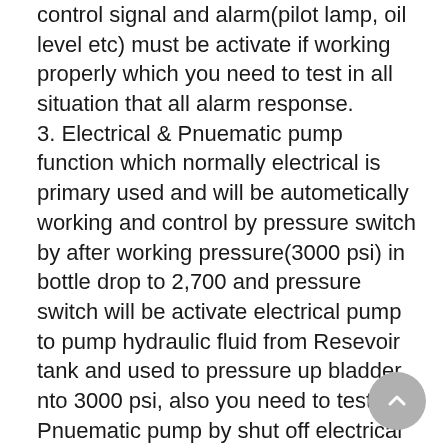control signal and alarm(pilot lamp, oil level etc) must be activate if working properly which you need to test in all situation that all alarm response.
3. Electrical & Pnuematic pump function which normally electrical is primary used and will be autometically working and control by pressure switch by after working pressure(3000 psi) in bottle drop to 2,700 and pressure switch will be activate electrical pump to pump hydraulic fluid from Resevoir tank and used to pressure up bladder nto 3000 psi, also you need to test Pnuematic pump by shut off electrical pump and when pressure drop to 2700 psi Pnuematic pump will be activate (same as electrical pump process)but for this pump there is time limit to increase pressure for audit which your pump must be working to build up in this time (sorry I cannot remember within 2 minutes or not.)